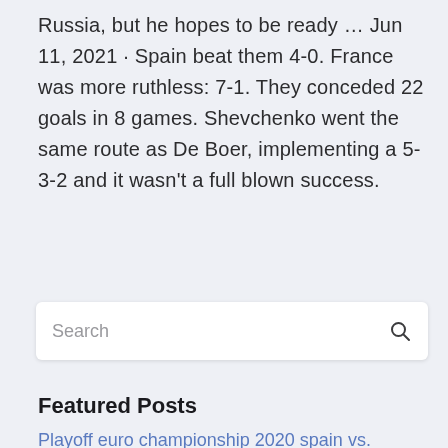Russia, but he hopes to be ready … Jun 11, 2021 · Spain beat them 4-0. France was more ruthless: 7-1. They conceded 22 goals in 8 games. Shevchenko went the same route as De Boer, implementing a 5-3-2 and it wasn't a full blown success.
Search
Featured Posts
Playoff euro championship 2020 spain vs. sweden